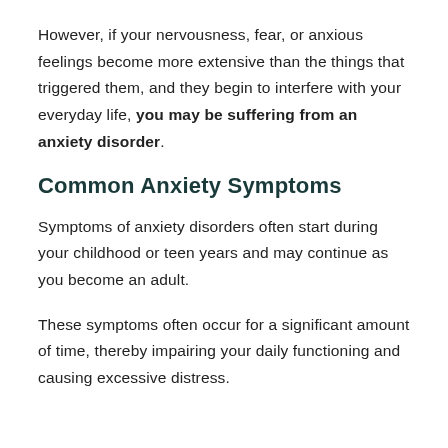However, if your nervousness, fear, or anxious feelings become more extensive than the things that triggered them, and they begin to interfere with your everyday life, you may be suffering from an anxiety disorder.
Common Anxiety Symptoms
Symptoms of anxiety disorders often start during your childhood or teen years and may continue as you become an adult.
These symptoms often occur for a significant amount of time, thereby impairing your daily functioning and causing excessive distress.